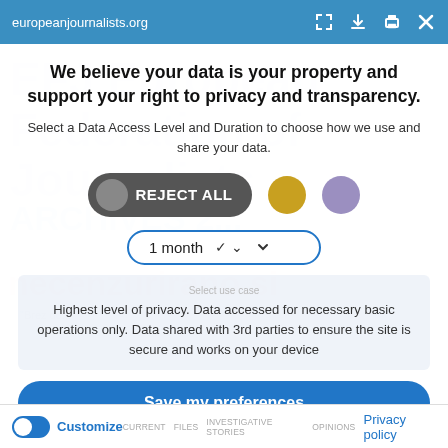europeanjournalists.org
We believe your data is your property and support your right to privacy and transparency.
Select a Data Access Level and Duration to choose how we use and share your data.
[Figure (screenshot): Privacy consent modal with REJECT ALL button, two colored circle icons (yellow and purple), a 1 month dropdown, a description box saying 'Highest level of privacy. Data accessed for necessary basic operations only. Data shared with 3rd parties to ensure the site is secure and works on your device', and a Save my preferences button.]
Customize  Privacy policy